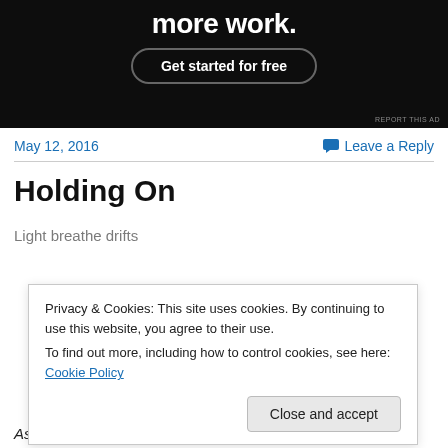[Figure (screenshot): Dark advertisement banner with text 'more work.' and a 'Get started for free' button with rounded border. Small 'REPORT THIS AD' link at bottom right.]
May 12, 2016
Leave a Reply
Holding On
Light breathe drifts
Privacy & Cookies: This site uses cookies. By continuing to use this website, you agree to their use.
To find out more, including how to control cookies, see here: Cookie Policy
Close and accept
As life slips away